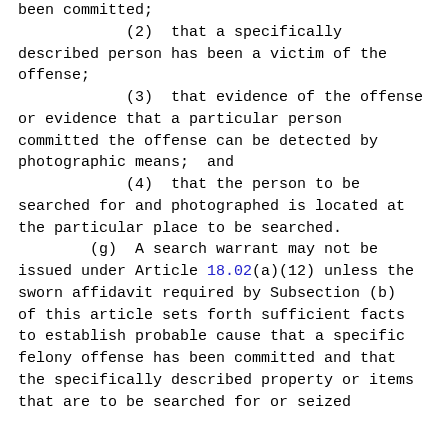been committed;
(2)  that a specifically described person has been a victim of the offense;
(3)  that evidence of the offense or evidence that a particular person committed the offense can be detected by photographic means;  and
(4)  that the person to be searched for and photographed is located at the particular place to be searched.
(g)  A search warrant may not be issued under Article 18.02(a)(12) unless the sworn affidavit required by Subsection (b) of this article sets forth sufficient facts to establish probable cause that a specific felony offense has been committed and that the specifically described property or items that are to be searched for or seized